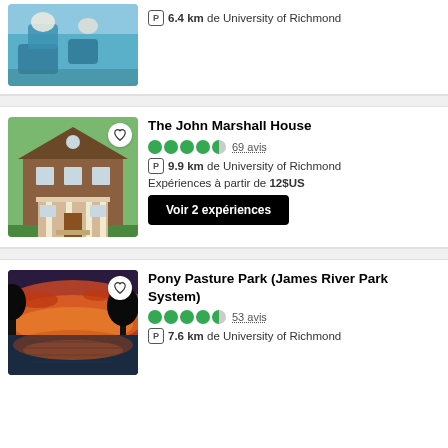[Figure (photo): Partial view of an aquarium or event venue with blue water feature and decorative elements]
6.4 km de University of Richmond
The John Marshall House
69 avis
9.9 km de University of Richmond
Expériences à partir de 12$US
Voir 2 expériences
[Figure (photo): The John Marshall House - a historic brick colonial house with white columns]
Pony Pasture Park (James River Park System)
53 avis
7.6 km de University of Richmond
[Figure (photo): Pony Pasture Park at sunset with colorful sky reflected in the James River]